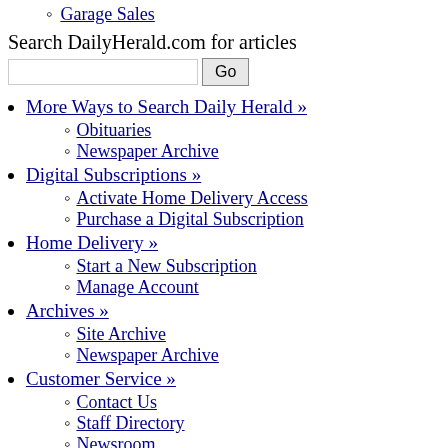Garage Sales
Search DailyHerald.com for articles
More Ways to Search Daily Herald »
Obituaries
Newspaper Archive
Digital Subscriptions »
Activate Home Delivery Access
Purchase a Digital Subscription
Home Delivery »
Start a New Subscription
Manage Account
Archives »
Site Archive
Newspaper Archive
Customer Service »
Contact Us
Staff Directory
Newsroom
Advertising »
Advertising Directory
Place a Classified ad